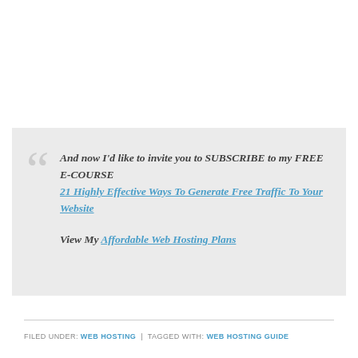And now I'd like to invite you to SUBSCRIBE to my FREE E-COURSE 21 Highly Effective Ways To Generate Free Traffic To Your Website

View My Affordable Web Hosting Plans
FILED UNDER: WEB HOSTING  |  TAGGED WITH: WEB HOSTING GUIDE